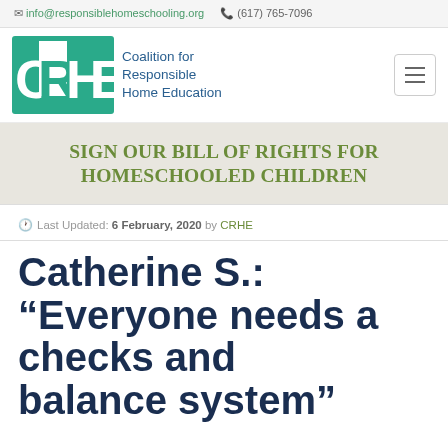info@responsiblehomeschooling.org  (617) 765-7096
[Figure (logo): CRHE logo with teal block letters and Coalition for Responsible Home Education text]
SIGN OUR BILL OF RIGHTS FOR HOMESCHOOLED CHILDREN
Last Updated: 6 February, 2020 by CRHE
Catherine S.: “Everyone needs a checks and balance system”